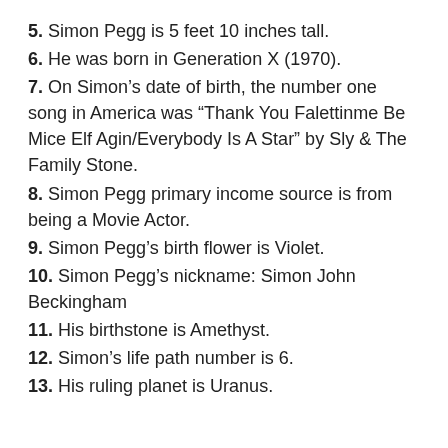5. Simon Pegg is 5 feet 10 inches tall.
6. He was born in Generation X (1970).
7. On Simon's date of birth, the number one song in America was "Thank You Falettinme Be Mice Elf Agin/Everybody Is A Star" by Sly & The Family Stone.
8. Simon Pegg primary income source is from being a Movie Actor.
9. Simon Pegg's birth flower is Violet.
10. Simon Pegg's nickname: Simon John Beckingham
11. His birthstone is Amethyst.
12. Simon's life path number is 6.
13. His ruling planet is Uranus.